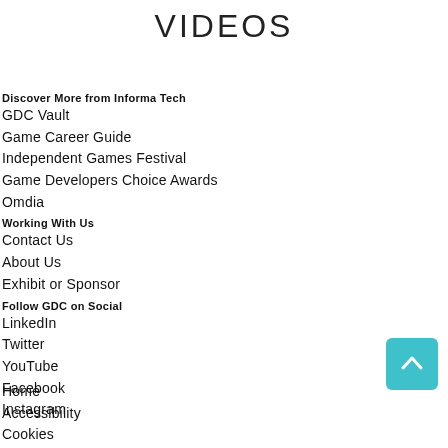VIDEOS
Discover More from Informa Tech
GDC Vault
Game Career Guide
Independent Games Festival
Game Developers Choice Awards
Omdia
Working With Us
Contact Us
About Us
Exhibit or Sponsor
Follow GDC on Social
LinkedIn
Twitter
YouTube
Facebook
Instagram
Home
Accessibility
Cookies